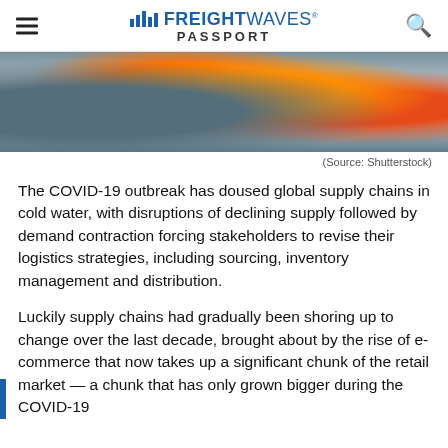FREIGHT WAVES PASSPORT
[Figure (photo): Close-up photo of orange and dark industrial parts (possibly semiconductor components or electronic modules) on a metallic surface, with blue packaging visible on the left side.]
(Source: Shutterstock)
The COVID-19 outbreak has doused global supply chains in cold water, with disruptions of declining supply followed by demand contraction forcing stakeholders to revise their logistics strategies, including sourcing, inventory management and distribution.
Luckily supply chains had gradually been shoring up to change over the last decade, brought about by the rise of e-commerce that now takes up a significant chunk of the retail market — a chunk that has only grown bigger during the COVID-19